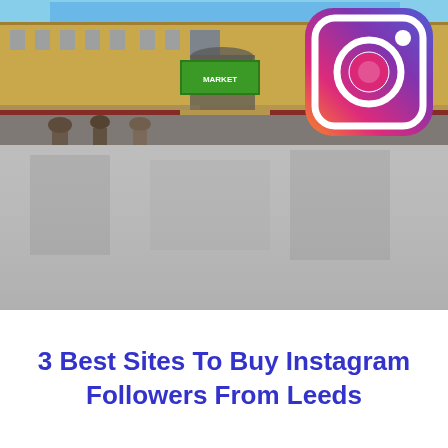[Figure (photo): Street scene of Leeds city centre showing a grand Victorian building facade with shops at street level, crowds of people on the pavement, and an Instagram logo overlaid in the top right corner. The lower portion of the image fades to a gray/blurred area.]
3 Best Sites To Buy Instagram Followers From Leeds